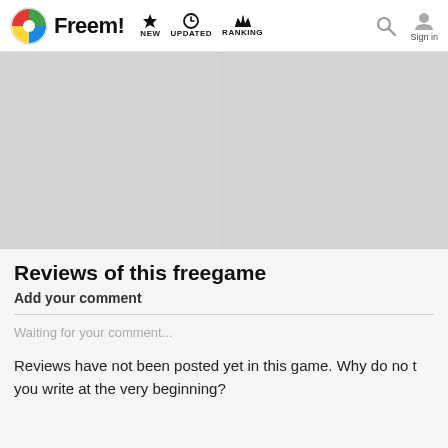Freem! NEW UPDATED RANKING Sign in
[Figure (screenshot): Two gray image placeholder boxes side by side]
Reviews of this freegame
Add your comment
Waiting for your comment...
Reviews have not been posted yet in this game. Why do not you write at the very beginning?